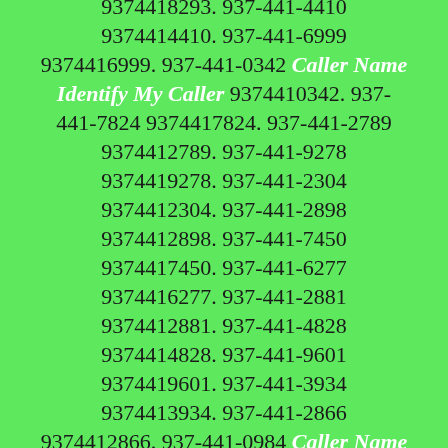9374418293. 937-441-4410 9374414410. 937-441-6999 9374416999. 937-441-0342 Caller Name Identify My Caller 9374410342. 937-441-7824 9374417824. 937-441-2789 9374412789. 937-441-9278 9374419278. 937-441-2304 9374412304. 937-441-2898 9374412898. 937-441-7450 9374417450. 937-441-6277 9374416277. 937-441-2881 9374412881. 937-441-4828 9374414828. 937-441-9601 9374419601. 937-441-3934 9374413934. 937-441-2866 9374412866. 937-441-0984 Caller Name Identify My Caller 9374410984. 937-441-7339 9374417339. 937-441-8544 9374418544. 937-441-5082 9374415082. 937-441-2517 9374412517. 937-441-8078 9374418078. 937-441-4709 9374414709. 937-441-2562 9374412562. 937-441-4750 9374414750. 937-441-9748 9374419748. 937-441-2857